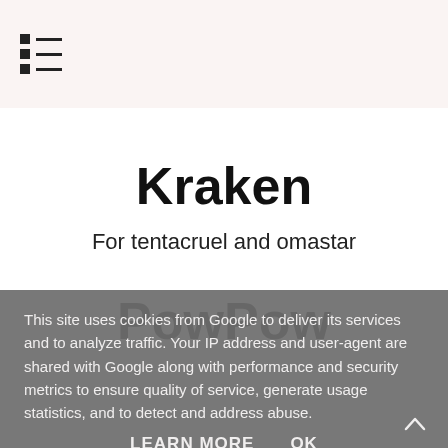≡ (menu icon)
Kraken
For tentacruel and omastar
PowPow
This site uses cookies from Google to deliver its services and to analyze traffic. Your IP address and user-agent are shared with Google along with performance and security metrics to ensure quality of service, generate usage statistics, and to detect and address abuse.
LEARN MORE   OK